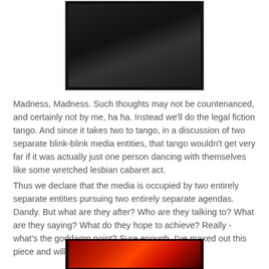[Figure (photo): Black and white photograph showing a dark figure, partially visible at top of page]
Madness, Madness. Such thoughts may not be countenanced, and certainly not by me, ha ha. Instead we'll do the legal fiction tango. And since it takes two to tango, in a discussion of two separate blink-blink media entities, that tango wouldn't get very far if it was actually just one person dancing with themselves like some wretched lesbian cabaret act.
Thus we declare that the media is occupied by two entirely separate entities pursuing two entirely separate agendas. Dandy. But what are they after? Who are they talking to? What are they saying? What do they hope to achieve? Really - what's the goddamn point? Sure enough, I've maxed out this piece and will have to come back again.
[Figure (photo): Colorful image showing red and orange tones, partially visible at bottom of page]